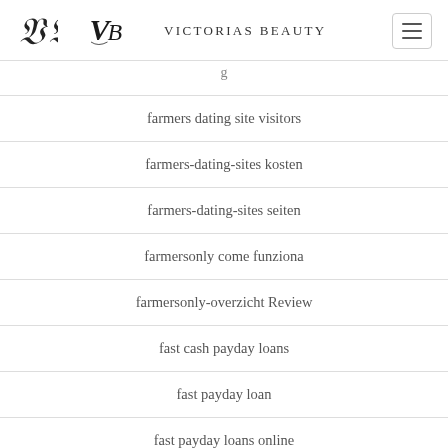Victorias Beauty
farmers dating site visitors
farmers-dating-sites kosten
farmers-dating-sites seiten
farmersonly come funziona
farmersonly-overzicht Review
fast cash payday loans
fast payday loan
fast payday loans online